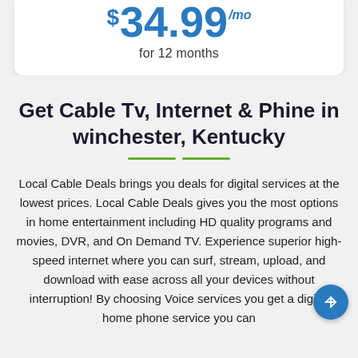$34.99/mo for 12 months
Get Cable Tv, Internet & Phine in winchester, Kentucky
Local Cable Deals brings you deals for digital services at the lowest prices. Local Cable Deals gives you the most options in home entertainment including HD quality programs and movies, DVR, and On Demand TV. Experience superior high-speed internet where you can surf, stream, upload, and download with ease across all your devices without interruption! By choosing Voice services you get a digital home phone service you can